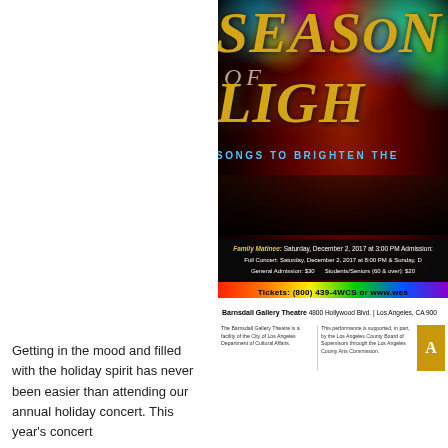[Figure (illustration): Event poster for 'Seasons of Light' holiday concert. Features colorful bokeh lights background with large gold metallic text reading 'SEASONS OF LIGHT' and subtitle 'SONGS TO BRIGHTEN THE'. Below the image section are event details: Family Matinee Saturday December 2 2017 at 3:00 PM; Full Concert Saturday December 2 2017 at 8:00 PM & Sunday; General Admission $30, Students/Seniors (60 & over): $20; Tickets: (800) 439-4WCS or www.wes...; Barnsdall Gallery Theatre 4800 Hollywood Blvd. | Los Angeles CA 900...; Footer text about Barnsdall Gallery Theatre being a facility of City of Los Angeles Department of Cultural Affairs, and performance support by Los Angeles County Board of Supervisors through LA County Arts Commission.]
Getting in the mood and filled with the holiday spirit has never been easier than attending our annual holiday concert. This year's concert